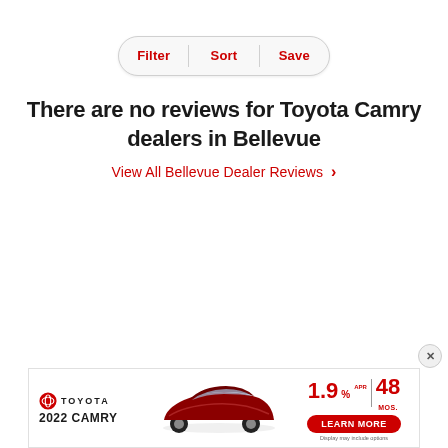[Figure (screenshot): Filter/Sort/Save button bar with rounded pill shape, three options separated by vertical dividers]
There are no reviews for Toyota Camry dealers in Bellevue
View All Bellevue Dealer Reviews >
[Figure (infographic): Toyota 2022 Camry advertisement banner showing car image, 1.9% APR for 48 months offer, and Learn More button]